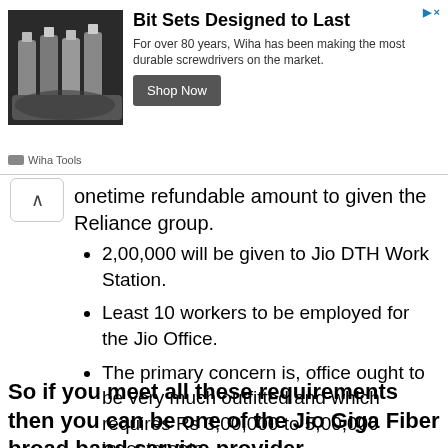[Figure (other): Advertisement banner for Wiha Tools - Bit Sets Designed to Last. Shows screwdriver bit set image on left, ad copy in center, and Shop Now button on right.]
onetime refundable amount to given the Reliance group.
2,00,000 will be given to Jio DTH Work Station.
Least 10 workers to be employed for the Jio Office.
The primary concern is, office ought to be very much outfitted and which requires Rs 3,00,000 to 5,00,000 investments.
So if you meet all these requirements then you can be one of the Jio Giga Fiber broad band service provider.